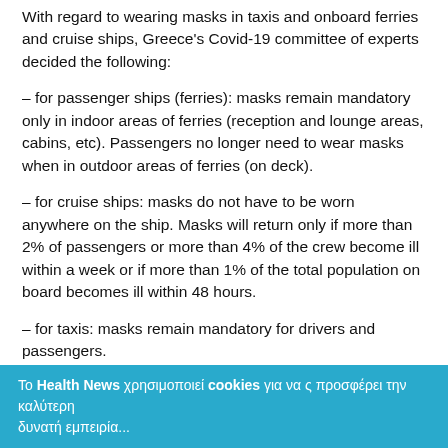With regard to wearing masks in taxis and onboard ferries and cruise ships, Greece's Covid-19 committee of experts decided the following:
– for passenger ships (ferries): masks remain mandatory only in indoor areas of ferries (reception and lounge areas, cabins, etc). Passengers no longer need to wear masks when in outdoor areas of ferries (on deck).
– for cruise ships: masks do not have to be worn anywhere on the ship. Masks will return only if more than 2% of passengers or more than 4% of the crew become ill within a week or if more than 1% of the total population on board becomes ill within 48 hours.
– for taxis: masks remain mandatory for drivers and passengers.
The committee of experts also decided that masks will
Το Health News χρησιμοποιεί cookies για να ς προσφέρει την καλύτερη δυνατή εμπειρία...